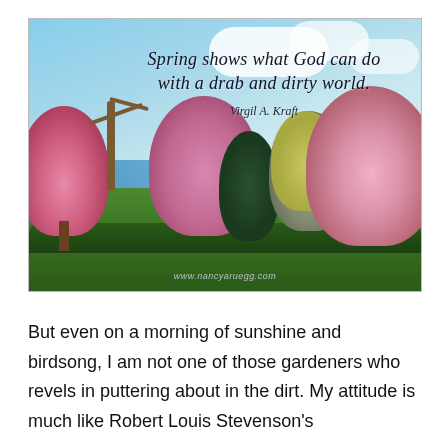[Figure (photo): A spring landscape photo with blooming pink and magenta trees under a blue sky with white clouds. Overlaid with an italic cursive quote: 'Spring shows what God can do with a drab and dirty world.' attributed to Virgil A. Kraft. Website watermark: www.nancyaruegg.com]
But even on a morning of sunshine and birdsong, I am not one of those gardeners who revels in puttering about in the dirt. My attitude is much like Robert Louis Stevenson's